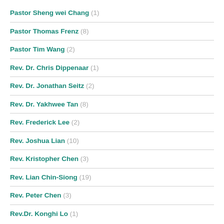Pastor Sheng wei Chang (1)
Pastor Thomas Frenz (8)
Pastor Tim Wang (2)
Rev. Dr. Chris Dippenaar (1)
Rev. Dr. Jonathan Seitz (2)
Rev. Dr. Yakhwee Tan (8)
Rev. Frederick Lee (2)
Rev. Joshua Lian (10)
Rev. Kristopher Chen (3)
Rev. Lian Chin-Siong (19)
Rev. Peter Chen (3)
Rev.Dr. Konghi Lo (1)